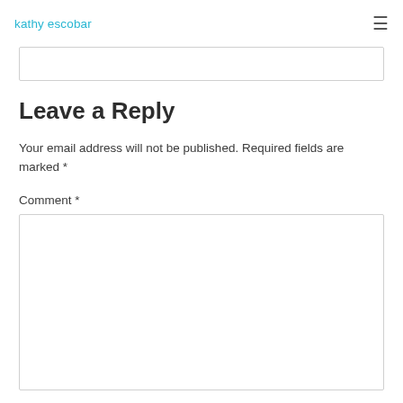kathy escobar
Leave a Reply
Your email address will not be published. Required fields are marked *
Comment *